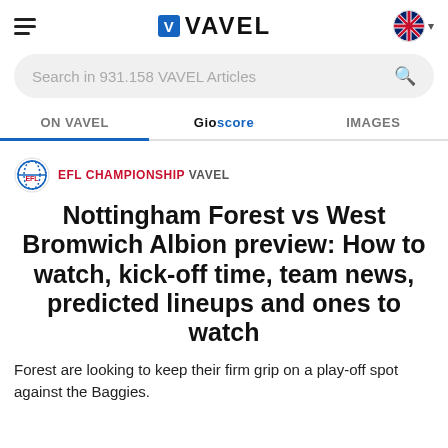[Figure (logo): VAVEL website header with hamburger menu, VAVEL logo, and UK flag language selector]
[Figure (screenshot): Search bar reading 'Search in 931.158 VAVEL Articles' with magnifying glass icon]
ON VAVEL | Gioscore | IMAGES
[Figure (logo): EFL Championship VAVEL badge with globe icon and EFL text in red]
Nottingham Forest vs West Bromwich Albion preview: How to watch, kick-off time, team news, predicted lineups and ones to watch
Forest are looking to keep their firm grip on a play-off spot against the Baggies.